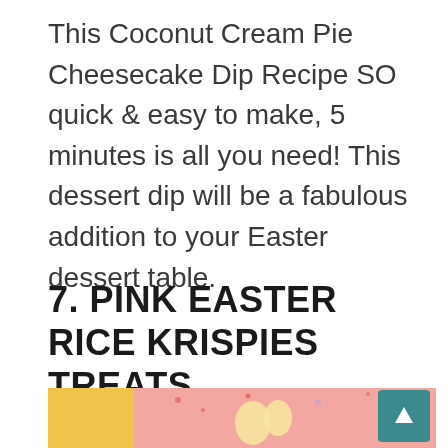This Coconut Cream Pie Cheesecake Dip Recipe SO quick & easy to make, 5 minutes is all you need! This dessert dip will be a fabulous addition to your Easter dessert table.
7. PINK EASTER RICE KRISPIES TREATS
[Figure (photo): A pink Easter Rice Krispies treat shaped like a bunny or Easter egg, on a pink background with yellow section on left, decorated with sprinkles and candy pieces. A teal scroll-to-top button with an upward arrow is visible in the bottom right corner.]